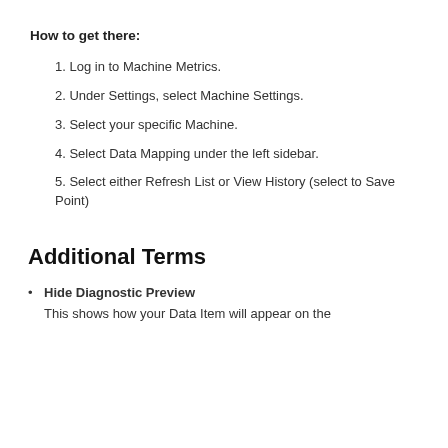How to get there:
1. Log in to Machine Metrics.
2. Under Settings, select Machine Settings.
3. Select your specific Machine.
4. Select Data Mapping under the left sidebar.
5. Select either Refresh List or View History (select to Save Point)
Additional Terms
Hide Diagnostic Preview
This shows how your Data Item will appear on the